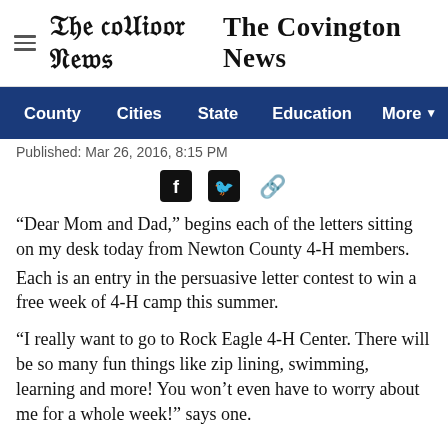The Covington News
County  Cities  State  Education  More
Published: Mar 26, 2016, 8:15 PM
“Dear Mom and Dad,” begins each of the letters sitting on my desk today from Newton County 4-H members.
Each is an entry in the persuasive letter contest to win a free week of 4-H camp this summer.
“I really want to go to Rock Eagle 4-H Center. There will be so many fun things like zip lining, swimming, learning and more! You won’t even have to worry about me for a whole week!” says one.